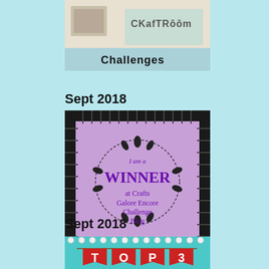[Figure (photo): Partial image of a craft room challenges blog banner with text 'CKafTRöom' and 'Challenges' visible]
Sept 2018
[Figure (illustration): Purple badge with decorative floral wreath border and dark fringe frame reading 'I am a WINNER at Crafts Galore Encore Challenge Blog']
Sept 2018
[Figure (illustration): Teal decorative banner with scalloped edge and flower trim showing 'TOP 3' in red banner flags with white letters]